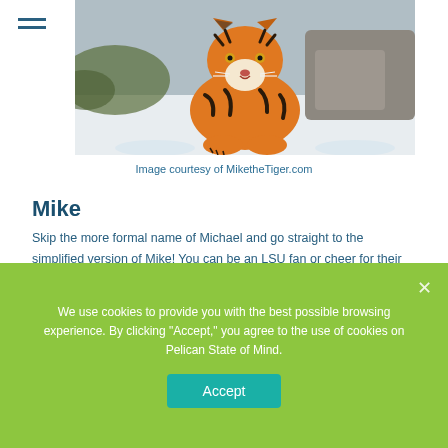[Figure (photo): A tiger walking in snow, viewed from front, with orange and black stripes, approaching the camera against a snowy winter background.]
Image courtesy of MiketheTiger.com
Mike
Skip the more formal name of Michael and go straight to the simplified version of Mike! You can be an LSU fan or cheer for their rival and still be captivated by Mike the Tiger's (RIP Mike VI) captivating and confident stride.
We use cookies to provide you with the best possible browsing experience. By clicking "Accept," you agree to the use of cookies on Pelican State of Mind.